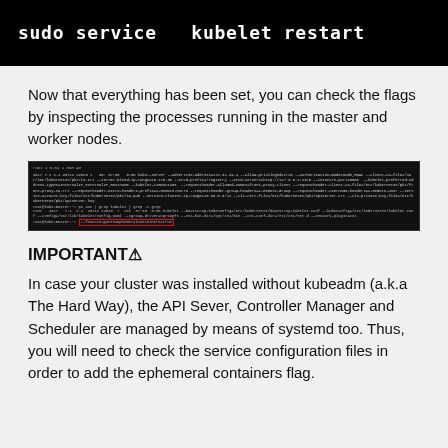[Figure (screenshot): Black terminal window showing the command: sudo service  kubelet restart in white bold monospace text]
Now that everything has been set, you can check the flags by inspecting the processes running in the master and worker nodes.
[Figure (screenshot): Black terminal screenshot showing process inspection output with multiple command-line flags and arguments highlighted in a red box near the bottom]
IMPORTANT⚠
In case your cluster was installed without kubeadm (a.k.a The Hard Way), the API Sever, Controller Manager and Scheduler are managed by means of systemd too. Thus, you will need to check the service configuration files in order to add the ephemeral containers flag.